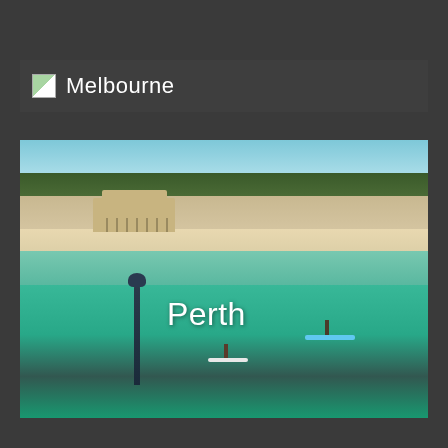Melbourne
[Figure (photo): Aerial photo of Perth, Australia, showing a beach with turquoise water, paddle boarders, a historic building, and tall trees lining the shore. The text 'Perth' is overlaid on the image.]